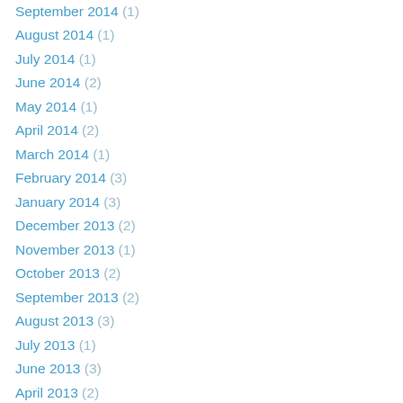September 2014 (1)
August 2014 (1)
July 2014 (1)
June 2014 (2)
May 2014 (1)
April 2014 (2)
March 2014 (1)
February 2014 (3)
January 2014 (3)
December 2013 (2)
November 2013 (1)
October 2013 (2)
September 2013 (2)
August 2013 (3)
July 2013 (1)
June 2013 (3)
April 2013 (2)
March 2013 (4)
February 2013 (2)
January 2013 (4)